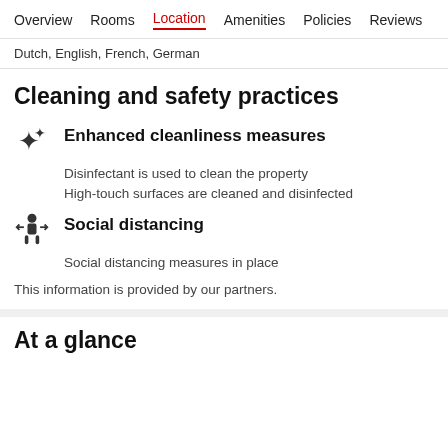Overview  Rooms  Location  Amenities  Policies  Reviews
Dutch, English, French, German
Cleaning and safety practices
Enhanced cleanliness measures
Disinfectant is used to clean the property
High-touch surfaces are cleaned and disinfected
Social distancing
Social distancing measures in place
This information is provided by our partners.
At a glance